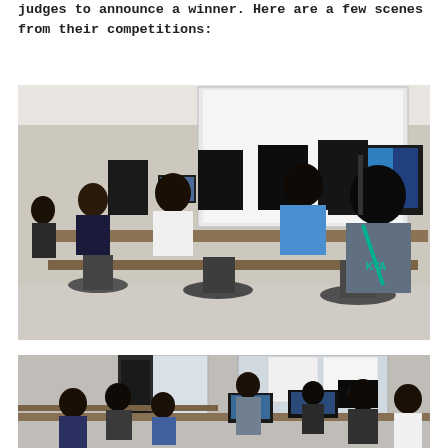judges to announce a winner. Here are a few scenes from their competitions:
[Figure (photo): Students sitting at computer workstations in a computer lab, working on tasks during a competition. Multiple monitors and desktop computers visible. Students wearing school uniforms.]
[Figure (photo): Another competition scene showing students at tables with laptops and equipment, posters on the wall in the background.]